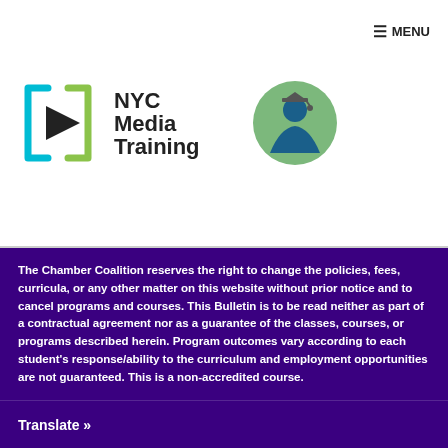[Figure (logo): NYC Media Training logo with colorful play button icon and graduation cap icon]
MENU
The Chamber Coalition reserves the right to change the policies, fees, curricula, or any other matter on this website without prior notice and to cancel programs and courses. This Bulletin is to be read neither as part of a contractual agreement nor as a guarantee of the classes, courses, or programs described herein. Program outcomes vary according to each student’s response/ability to the curriculum and employment opportunities are not guaranteed. This is a non-accredited course.
Translate »